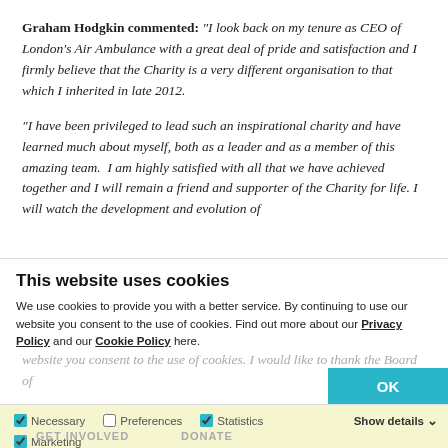Graham Hodgkin commented: “I look back on my tenure as CEO of London’s Air Ambulance with a great deal of pride and satisfaction and I firmly believe that the Charity is a very different organisation to that which I inherited in late 2012.
“I have been privileged to lead such an inspirational charity and have learned much about myself, both as a leader and as a member of this amazing team. I am highly satisfied with all that we have achieved together and I will remain a friend and supporter of the Charity for life. I will watch the development and evolution of London’s Air Ambulance with a real sense of pride.
This website uses cookies
We use cookies to provide you with a better service. By continuing to use our website you consent to the use of cookies. Find out more about our Privacy Policy and our Cookie Policy here.
“I am genuinely excited about the opportunities that lay... I would like to thank the Board of Trustees once again for allowing me the opportunity to lead London’s Air Ambulance and for all the incredible...
OK
Necessary  Preferences  Statistics  Show details  Marketing